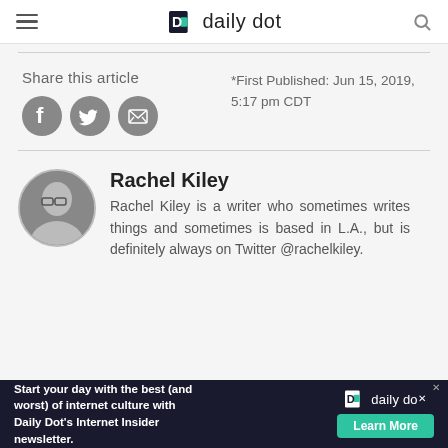daily dot
Share this article
*First Published: Jun 15, 2019, 5:17 pm CDT
Rachel Kiley
Rachel Kiley is a writer who sometimes writes things and sometimes is based in L.A., but is definitely always on Twitter @rachelkiley.
Start your day with the best (and worst) of internet culture with Daily Dot's Internet Insider newsletter.